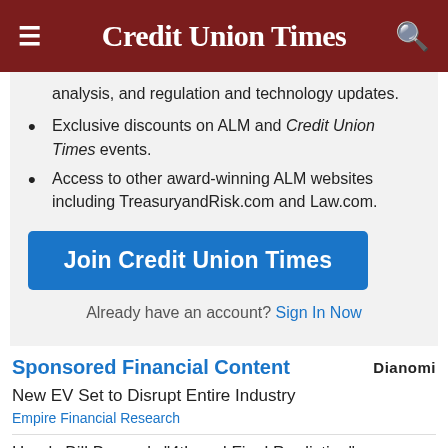Credit Union Times
analysis, and regulation and technology updates.
Exclusive discounts on ALM and Credit Union Times events.
Access to other award-winning ALM websites including TreasuryandRisk.com and Law.com.
Join Credit Union Times
Already have an account? Sign In Now
Sponsored Financial Content
New EV Set to Disrupt Entire Industry
Empire Financial Research
Here's Bill Bonner's "4th and Final Prediction"